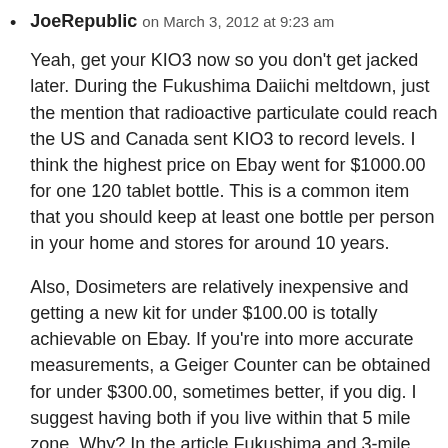JoeRepublic on March 3, 2012 at 9:23 am

Yeah, get your KIO3 now so you don't get jacked later. During the Fukushima Daiichi meltdown, just the mention that radioactive particulate could reach the US and Canada sent KIO3 to record levels. I think the highest price on Ebay went for $1000.00 for one 120 tablet bottle. This is a common item that you should keep at least one bottle per person in your home and stores for around 10 years.

Also, Dosimeters are relatively inexpensive and getting a new kit for under $100.00 is totally achievable on Ebay. If you're into more accurate measurements, a Geiger Counter can be obtained for under $300.00, sometimes better, if you dig. I suggest having both if you live within that 5 mile zone. Why? In the article Fukushima and 3-mile are discussed where many lies are told early on. Do yourself a favor